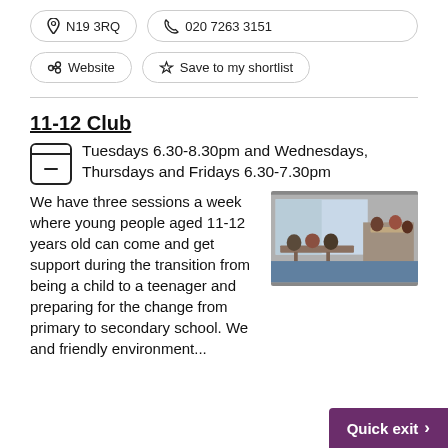📍 N19 3RQ   📞 020 7263 3151
🔗 Website   ☆ Save to my shortlist
11-12 Club
Tuesdays 6.30-8.30pm and Wednesdays, Thursdays and Fridays 6.30-7.30pm
We have three sessions a week where young people aged 11-12 years old can come and get support during the transition from being a child to a teenager and preparing for the change from primary to secondary school. We and friendly environment...
[Figure (photo): Young people sitting around tables in a room, likely a youth club or community space]
Quick exit >